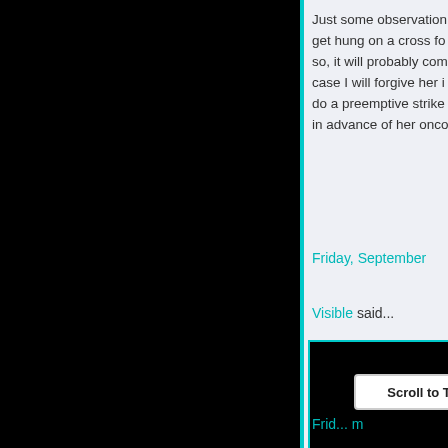[Figure (screenshot): Black left panel area representing clipped/hidden content on the left side of a blog page screenshot.]
Just some observations get hung on a cross for so, it will probably com case I will forgive her i do a preemptive strike in advance of her onco
Friday, September
Visible said...
A new Smoking Mirro
Riding a Water Buffa
Scroll to Top
Frid... m